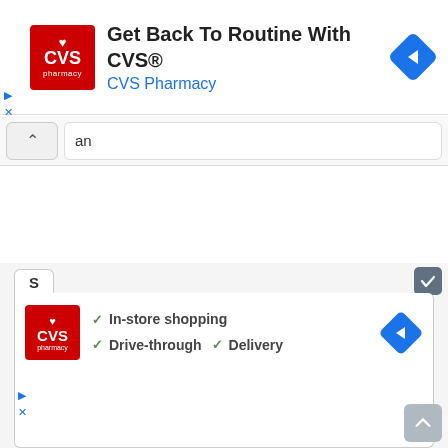[Figure (screenshot): CVS Pharmacy advertisement banner with red CVS logo, text 'Get Back To Routine With CVS®' and 'CVS Pharmacy' in blue, with blue navigation diamond icon on right]
Get Back To Routine With CVS®
CVS Pharmacy
an
[Figure (screenshot): Bottom panel showing a tab labeled 'S' with CVS Pharmacy logo and feature checkmarks: In-store shopping, Drive-through, Delivery, with navigation diamond icon]
✓ In-store shopping
✓ Drive-through
✓ Delivery